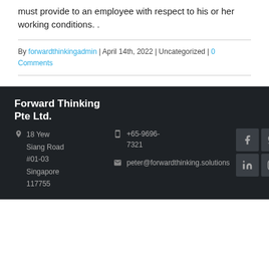must provide to an employee with respect to his or her working conditions. .
By forwardthinkingadmin | April 14th, 2022 | Uncategorized | 0 Comments
Forward Thinking Pte Ltd. | 18 Yew Siang Road #01-03 Singapore 117755 | +65-9696-7321 | peter@forwardthinking.solutions